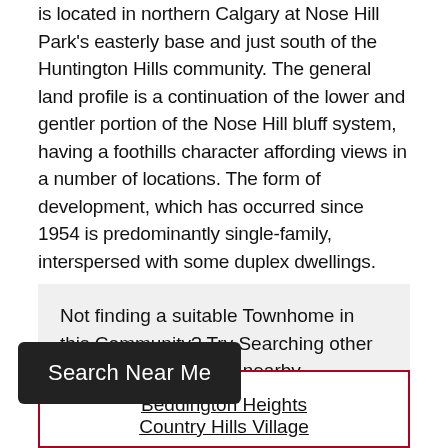is located in northern Calgary at Nose Hill Park's easterly base and just south of the Huntington Hills community. The general land profile is a continuation of the lower and gentler portion of the Nose Hill bluff system, having a foothills character affording views in a number of locations. The form of development, which has occurred since 1954 is predominantly single-family, interspersed with some duplex dwellings.
Not finding a suitable Townhome in this Community? Try Searching other Townhouses in these nearby communities.
Beddington Heights
Country Hills Village